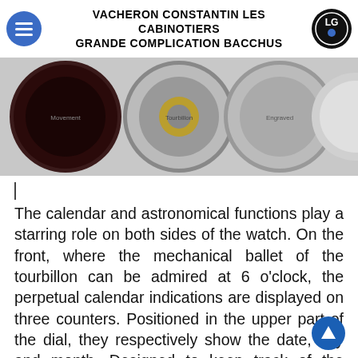VACHERON CONSTANTIN LES CABINOTIERS GRANDE COMPLICATION BACCHUS
[Figure (photo): Strip of close-up photos showing the intricate mechanical movement of the Vacheron Constantin Les Cabinotiers Grande Complication Bacchus watch, showing gears, tourbillon, and engraved decorations from multiple angles.]
The calendar and astronomical functions play a starring role on both sides of the watch. On the front, where the mechanical ballet of the tourbillon can be admired at 6 o'clock, the perpetual calendar indications are displayed on three counters. Positioned in the upper part of the dial, they respectively show the date, day and month. Designed to keep track of the Gregorian calendar's vagaries without any need for adjustment until 2100, this horological complication is further enhanced by the indication of the leap-year cycle.